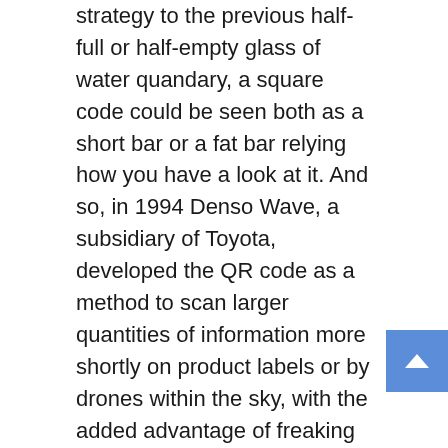strategy to the previous half-full or half-empty glass of water quandary, a square code could be seen both as a short bar or a fat bar relying how you have a look at it. And so, in 1994 Denso Wave, a subsidiary of Toyota, developed the QR code as a method to scan larger quantities of information more shortly on product labels or by drones within the sky, with the added advantage of freaking individuals out. LA locals must “Prove Their Power” and put together to have their thoughts flayed with an immersive expertise – with more surprises to come in the The wrong way up.
For extra data on online courting and associated topics, try the links that observe. And when you’re sitting alone in your dwelling room filling out a persona profile on a web site, there’s a fair higher likelihood that the ensuing matches won’t be perfect. The beforehand teased Ghostbusters: Spirits Unleashed-described solely as “coming quickly to consoles”-was talked about, with